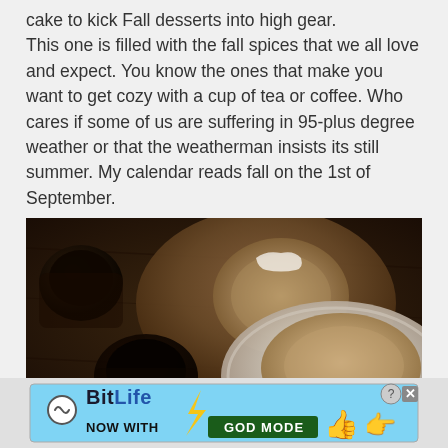cake to kick Fall desserts into high gear. This one is filled with the fall spices that we all love and expect. You know the ones that make you want to get cozy with a cup of tea or coffee. Who cares if some of us are suffering in 95-plus degree weather or that the weatherman insists its still summer. My calendar reads fall on the 1st of September.
[Figure (photo): Overhead view of two slices of spiced cake on plates with two cups of black coffee on a dark wooden surface]
[Figure (other): BitLife advertisement banner: NOW WITH GOD MODE, with hand/thumbs-up icons on blue background]